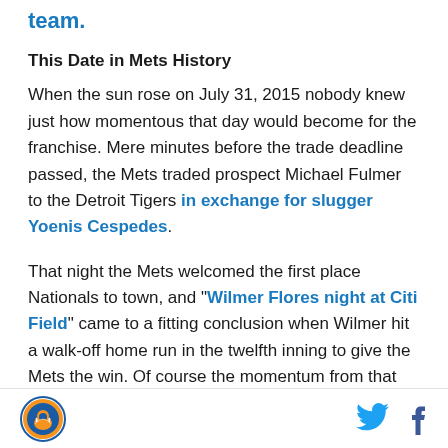team.
This Date in Mets History
When the sun rose on July 31, 2015 nobody knew just how momentous that day would become for the franchise. Mere minutes before the trade deadline passed, the Mets traded prospect Michael Fulmer to the Detroit Tigers in exchange for slugger Yoenis Cespedes.
That night the Mets welcomed the first place Nationals to town, and "Wilmer Flores night at Citi Field" came to a fitting conclusion when Wilmer hit a walk-off home run in the twelfth inning to give the Mets the win. Of course the momentum from that victory, in addition to
[Figure (logo): Mets circular logo with orange and blue design]
[Figure (logo): Twitter bird icon in blue]
[Figure (logo): Facebook f icon]